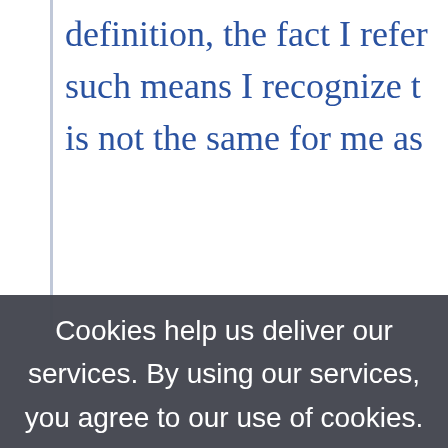definition, the fact I refer such means I recognize t is not the same for me as
[Figure (screenshot): Cookie consent overlay banner with semi-transparent dark background displaying: 'Cookies help us deliver our services. By using our services, you agree to our use of cookies. Learn more' with an OK button.]